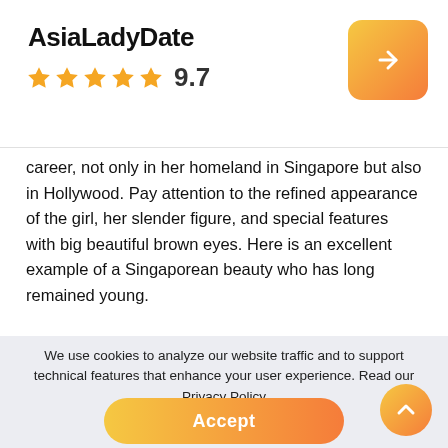AsiaLadyDate
9.7
career, not only in her homeland in Singapore but also in Hollywood. Pay attention to the refined appearance of the girl, her slender figure, and special features with big beautiful brown eyes. Here is an excellent example of a Singaporean beauty who has long remained young.
Tabitha Nauser
[Figure (photo): Photo of Tabitha Nauser, a woman with platinum blonde hair and red lips, posing with her hand near her face against a light background]
We use cookies to analyze our website traffic and to support technical features that enhance your user experience. Read our Privacy Policy
Accept